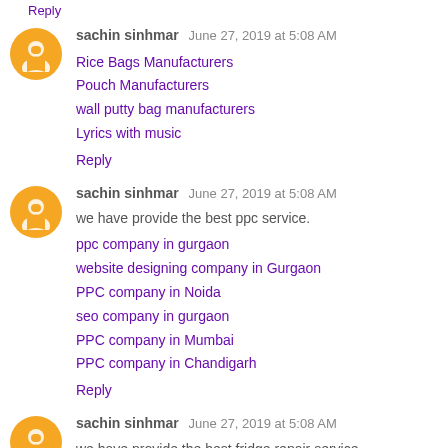Reply
sachin sinhmar  June 27, 2019 at 5:08 AM
Rice Bags Manufacturers
Pouch Manufacturers
wall putty bag manufacturers
Lyrics with music
Reply
sachin sinhmar  June 27, 2019 at 5:08 AM
we have provide the best ppc service.
ppc company in gurgaon
website designing company in Gurgaon
PPC company in Noida
seo company in gurgaon
PPC company in Mumbai
PPC company in Chandigarh
Reply
sachin sinhmar  June 27, 2019 at 5:08 AM
we have provide the best fridge repair service.